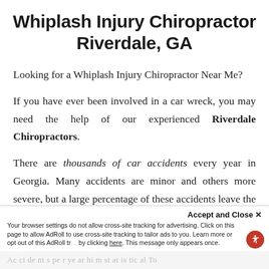Whiplash Injury Chiropractor Riverdale, GA
Looking for a Whiplash Injury Chiropractor Near Me?
If you have ever been involved in a car wreck, you may need the help of our experienced Riverdale Chiropractors.
There are thousands of car accidents every year in Georgia. Many accidents are minor and others more severe, but a large percentage of these accidents leave the victims suffering from symptoms of Whiplash and Neck Pain.
Accept and Close ×
Your browser settings do not allow cross-site tracking for advertising. Click on this page to allow AdRoll to use cross-site tracking to tailor ads to you. Learn more or opt out of this AdRoll tracking by clicking here. This message only appears once.